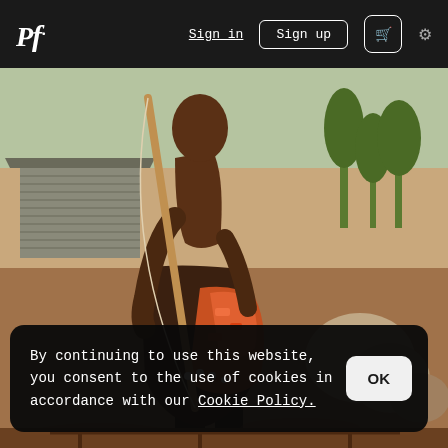Pf. | Sign in | Sign up | Cart | Settings
[Figure (photo): Photograph of a person standing outdoors holding a wooden staff/bow, wearing a dark brown wrap cloth and orange patterned fabric around the waist. Background shows a dry, reddish-brown earth landscape with a corrugated metal structure and trees.]
By continuing to use this website, you consent to the use of cookies in accordance with our Cookie Policy.